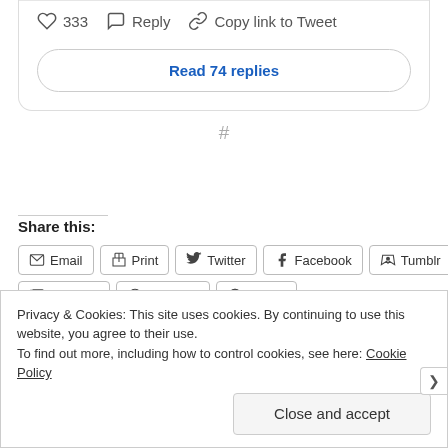333  Reply  Copy link to Tweet
Read 74 replies
#
Share this:
Email  Print  Twitter  Facebook  Tumblr  LinkedIn  Pinterest  Reddit
Privacy & Cookies: This site uses cookies. By continuing to use this website, you agree to their use. To find out more, including how to control cookies, see here: Cookie Policy
Close and accept